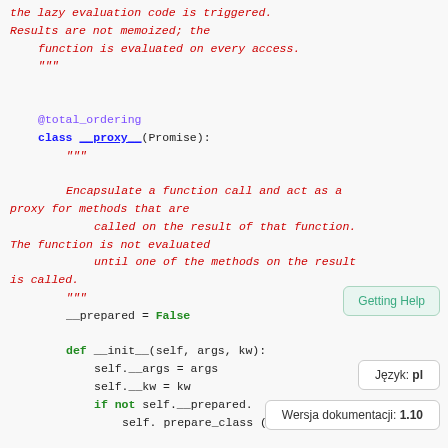Code block showing Python source code with docstrings, class definition __proxy__(Promise), and method definitions including __init__
Getting Help tooltip
Język: pl tooltip
Wersja dokumentacji: 1.10 tooltip